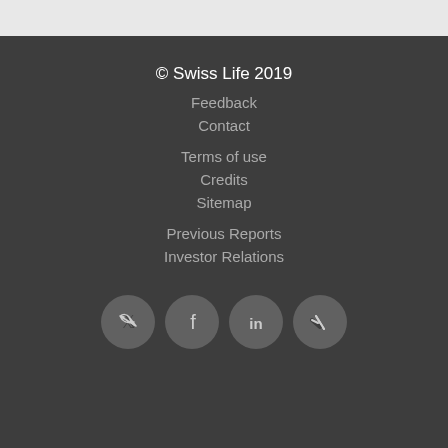© Swiss Life 2019
Feedback
Contact
Terms of use
Credits
Sitemap
Previous Reports
Investor Relations
[Figure (illustration): Social media icons row: Twitter, Facebook, LinkedIn, Xing — circular grey buttons]